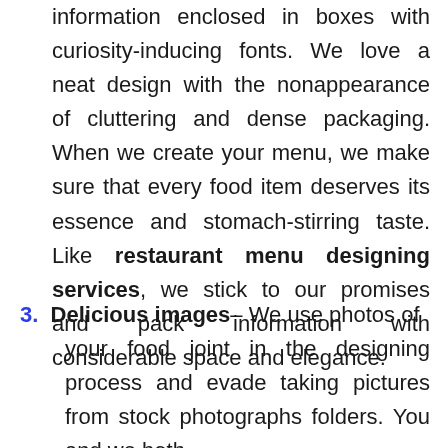information enclosed in boxes with curiosity-inducing fonts. We love a neat design with the nonappearance of cluttering and dense packaging. When we create your menu, we make sure that every food item deserves its essence and stomach-stirring taste. Like restaurant menu designing services, we stick to our promises and pack information with considerable space and elegance.
3. Delicious images– We use photos of your food joint in the designing process and evade taking pictures from stock photographs folders. You and we both